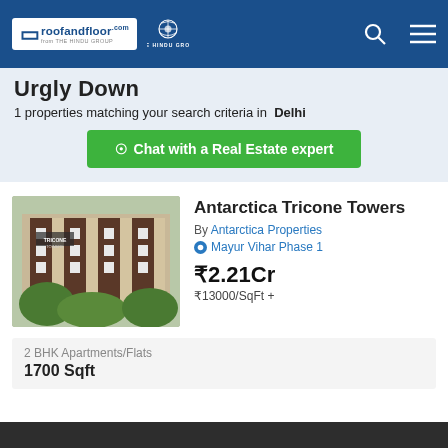roofandfloor.com | THE HINDU GROUP
Urgly Down
1 properties matching your search criteria in Delhi
Chat with a Real Estate expert
[Figure (photo): Exterior photo of Antarctica Tricone Towers building, a multi-storey residential apartment complex with brown and white facade surrounded by trees]
Antarctica Tricone Towers
By Antarctica Properties
Mayur Vihar Phase 1
₹2.21Cr
₹13000/SqFt +
2 BHK Apartments/Flats
1700 Sqft